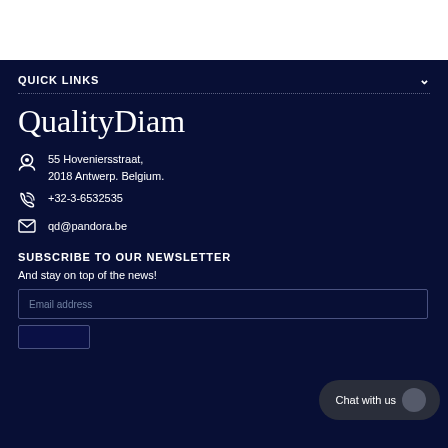QUICK LINKS
QualityDiam
55 Hoveniersstraat,
2018 Antwerp. Belgium.
+32-3-6532535
qd@pandora.be
SUBSCRIBE TO OUR NEWSLETTER
And stay on top of the news!
Email address